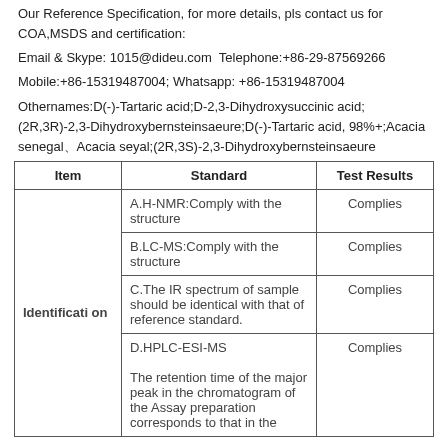Our Reference Specification, for more details, pls contact us for COA,MSDS and certification:
Email & Skype: 1015@dideu.com  Telephone:+86-29-87569266
Mobile:+86-15319487004; Whatsapp: +86-15319487004
Othernames:D(-)-Tartaric acid;D-2,3-Dihydroxysuccinic acid;(2R,3R)-2,3-Dihydroxybernsteinsaeure;D(-)-Tartaric acid, 98%+;Acacia senegal、Acacia seyal;(2R,3S)-2,3-Dihydroxybernsteinsaeure
| Item | Standard | Test Results |
| --- | --- | --- |
| Identification | A.H-NMR:Comply with the structure | Complies |
|  | B.LC-MS:Comply with the structure | Complies |
|  | C.The IR spectrum of sample should be identical with that of reference standard. | Complies |
|  | D.HPLC-ESI-MS
The retention time of the major peak in the chromatogram of the Assay preparation corresponds to that in the | Complies |